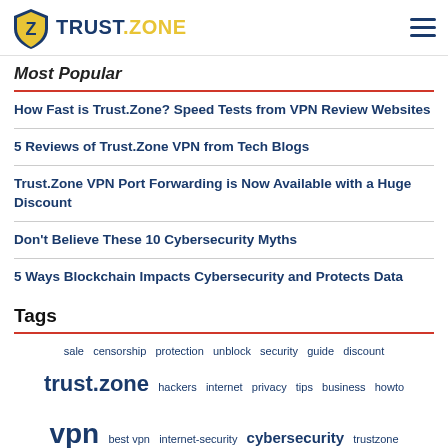TRUST.ZONE
Most Popular
How Fast is Trust.Zone? Speed Tests from VPN Review Websites
5 Reviews of Trust.Zone VPN from Tech Blogs
Trust.Zone VPN Port Forwarding is Now Available with a Huge Discount
Don't Believe These 10 Cybersecurity Myths
5 Ways Blockchain Impacts Cybersecurity and Protects Data
Tags
sale  censorship  protection  unblock  security  guide  discount  trust.zone  hackers  internet  privacy  tips  business  howto  vpn  best vpn  internet-security  cybersecurity  trustzone  hacking